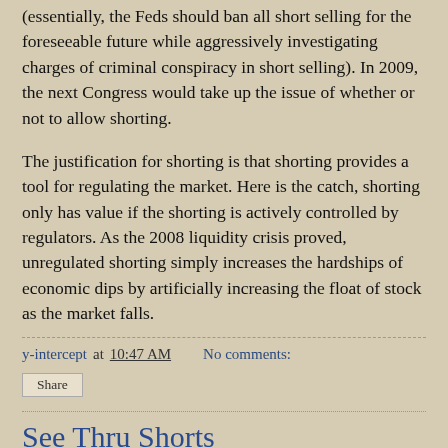(essentially, the Feds should ban all short selling for the foreseeable future while aggressively investigating charges of criminal conspiracy in short selling). In 2009, the next Congress would take up the issue of whether or not to allow shorting.
The justification for shorting is that shorting provides a tool for regulating the market. Here is the catch, shorting only has value if the shorting is actively controlled by regulators. As the 2008 liquidity crisis proved, unregulated shorting simply increases the hardships of economic dips by artificially increasing the float of stock as the market falls.
y-intercept at 10:47 AM    No comments:
Share
See Thru Shorts
The mortgage mess, messy shorts and subsequent bank failures all seem to share a common theme. What is driving